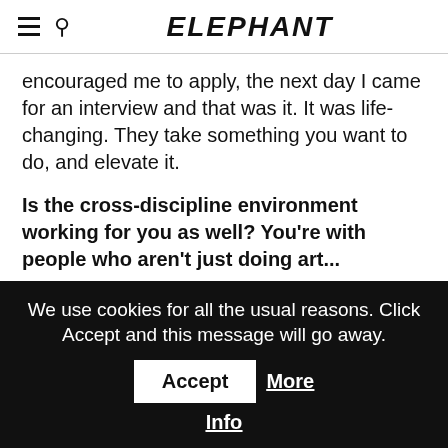ELEPHANT
encouraged me to apply, the next day I came for an interview and that was it. It was life-changing. They take something you want to do, and elevate it.
Is the cross-discipline environment working for you as well? You're with people who aren't just doing art...
So many things. There might be something you're
We use cookies for all the usual reasons. Click Accept and this message will go away. Accept More Info